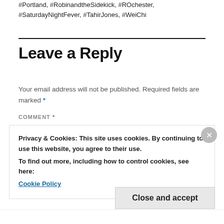#Portland, #RobinandtheSidekick, #ROchester, #SaturdayNightFever, #TahirJones, #WeiChi
Leave a Reply
Your email address will not be published. Required fields are marked *
COMMENT *
Privacy & Cookies: This site uses cookies. By continuing to use this website, you agree to their use.
To find out more, including how to control cookies, see here: Cookie Policy
Close and accept